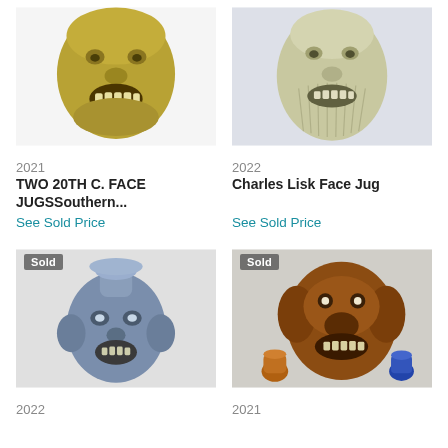[Figure (photo): Olive-gold glazed face jug with open mouth showing teeth, no 'Sold' badge]
[Figure (photo): Pale olive-beige glazed face jug with textured beard and open-mouth teeth, no 'Sold' badge]
2021
TWO 20TH C. FACE JUGSSouthern...
See Sold Price
2022
Charles Lisk Face Jug
See Sold Price
[Figure (photo): Blue-grey glazed face jug vase with expressive face and protruding ears, 'Sold' badge overlay]
[Figure (photo): Brown glazed dog-face jug with small amber and blue pitchers beside it, 'Sold' badge overlay]
2022
2021